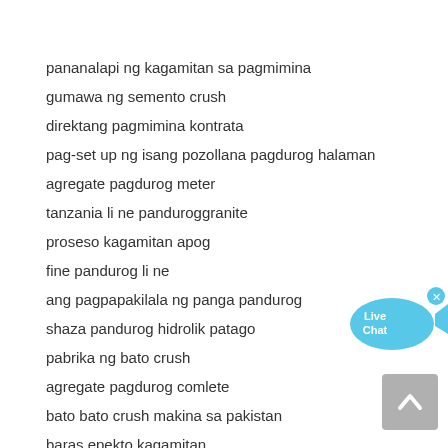pananalapi ng kagamitan sa pagmimina
gumawa ng semento crush
direktang pagmimina kontrata
pag-set up ng isang pozollana pagdurog halaman
agregate pagdurog meter
tanzania li ne panduroggranite
proseso kagamitan apog
fine pandurog li ne
ang pagpapakilala ng panga pandurog
shaza pandurog hidrolik patago
pabrika ng bato crush
agregate pagdurog comlete
bato bato crush makina sa pakistan
baras epekto kagamitan
diagram ng proseso ng pagmimina ng nickel
used quarry pagdurog kagamitan for sale in india
[Figure (illustration): Live Chat widget button with fish-shaped blue bubble and close button]
[Figure (illustration): Scroll to top button with upward chevron arrow]